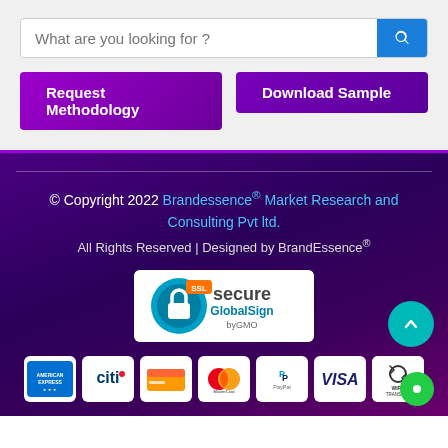What are you looking for ?
Request Methodology
Download Sample
© Copyright 2022 Brandessence® Market Research and Consulting Pvt ltd.
All Rights Reserved | Designed by BrandEssence®
[Figure (logo): SSL Secure GlobalSign by GMO badge]
[Figure (logo): Payment method logos: American Express, Citi, generic card, MasterCard, PayPal, VISA, Wire Transfer]